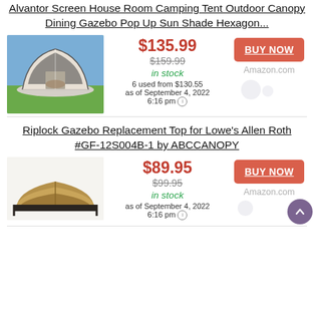Alvantor Screen House Room Camping Tent Outdoor Canopy Dining Gazebo Pop Up Sun Shade Hexagon...
$135.99
$159.99
in stock
6 used from $130.55
as of September 4, 2022
6:16 pm
[Figure (photo): Hexagonal screen house tent set up outdoors on grass with patio furniture inside]
BUY NOW
Amazon.com
Riplock Gazebo Replacement Top for Lowe's Allen Roth #GF-12S004B-1 by ABCCANOPY
$89.95
$99.95
in stock
as of September 4, 2022
6:16 pm
[Figure (photo): Gazebo replacement top canopy in tan/brown color, viewed from above at angle]
BUY NOW
Amazon.com